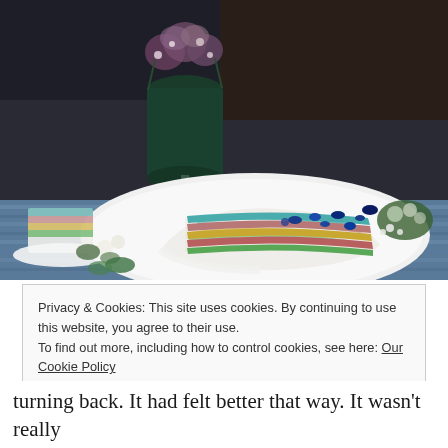[Figure (photo): A slice of rainbow layered cake on a white plate, with a floral arrangement in a dark green glass vase in the background, blue decorative beads and flowers scattered on a blue striped tablecloth.]
Privacy & Cookies: This site uses cookies. By continuing to use this website, you agree to their use.
To find out more, including how to control cookies, see here: Our Cookie Policy
Close and accept
turning back. It had felt better that way. It wasn't really